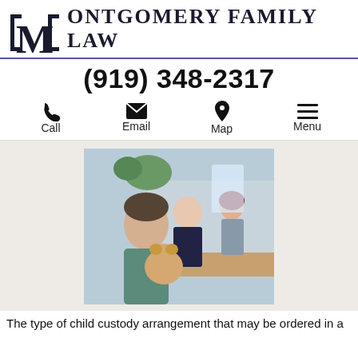[Figure (logo): Montgomery Family Law logo with stylized M columns and firm name]
(919) 348-2317
Call  Email  Map  Menu
[Figure (photo): Child holding teddy bear in foreground with adults in background appearing to have a disagreement, suggesting a custody situation]
The type of child custody arrangement that may be ordered in a